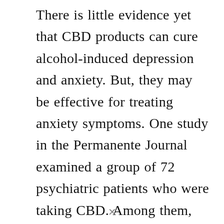There is little evidence yet that CBD products can cure alcohol-induced depression and anxiety. But, they may be effective for treating anxiety symptoms. One study in the Permanente Journal examined a group of 72 psychiatric patients who were taking CBD. Among them, two-thirds of the participants experienced an improvement in their anxiety and sleep, which indicated [redacted]